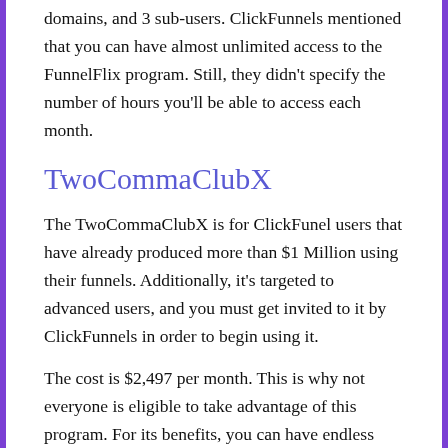domains, and 3 sub-users. ClickFunnels mentioned that you can have almost unlimited access to the FunnelFlix program. Still, they didn't specify the number of hours you'll be able to access each month.
TwoCommaClubX
The TwoCommaClubX is for ClickFunel users that have already produced more than $1 Million using their funnels. Additionally, it's targeted to advanced users, and you must get invited to it by ClickFunnels in order to begin using it.
The cost is $2,497 per month. This is why not everyone is eligible to take advantage of this program. For its benefits, you can have endless funnelsand follow-up funnels, websites, as well with an FunnelFlix Program.
You can also have 10 sub-users and 27 payment gateways as well as 27 domains. Since you're paying extra the VIP chat support when